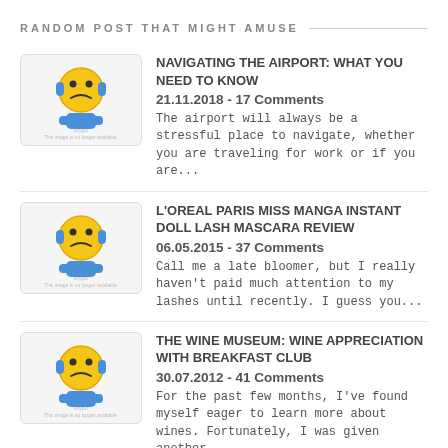RANDOM POST THAT MIGHT AMUSE
NAVIGATING THE AIRPORT: WHAT YOU NEED TO KNOW
21.11.2018 - 17 Comments
The airport will always be a stressful place to navigate, whether you are traveling for work or if you are...
L'OREAL PARIS MISS MANGA INSTANT DOLL LASH MASCARA REVIEW
06.05.2015 - 37 Comments
Call me a late bloomer, but I really haven't paid much attention to my lashes until recently. I guess you...
THE WINE MUSEUM: WINE APPRECIATION WITH BREAKFAST CLUB
30.07.2012 - 41 Comments
For the past few months, I've found myself eager to learn more about wines. Fortunately, I was given another...
ARCHIVE